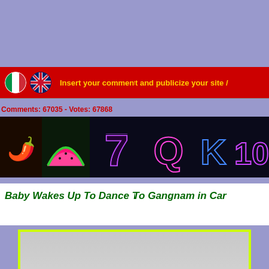Insert your comment and publicize your site /
Comments: 67035 - Votes: 67868
[Figure (photo): Casino slot machine banner with neon symbols: chili pepper character, watermelon slice, number 7, letter Q, letter K, number 10 on dark background]
Baby Wakes Up To Dance To Gangnam in Car
[Figure (screenshot): Video player with light gray background and dark control bar at bottom, surrounded by bright yellow-green border]